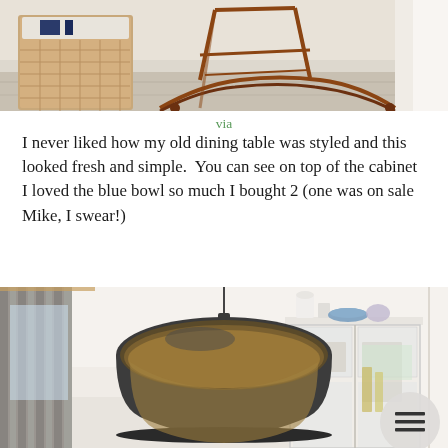[Figure (photo): Photo of a rocking chair and wicker furniture on a light wooden floor, cropped at top of the page.]
via
I never liked how my old dining table was styled and this looked fresh and simple.  You can see on top of the cabinet I loved the blue bowl so much I bought 2 (one was on sale Mike, I swear!)
[Figure (photo): Photo of a dining room featuring a large dark metal pendant lamp hanging from the ceiling, gray curtains on the left, and a white glass-fronted display cabinet on the right with items on top including a blue decorative bowl. A circular hamburger menu button overlay is visible in the bottom right.]